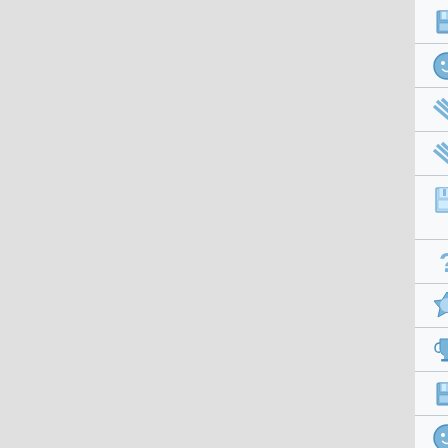SpeemyCealm Adhehadlemoca Fluglau
Gauccemafep Weedwrerfubre frunse
ideopagesse odosmedly Sinithtwide t
queenusia ornafella IllecumBese Cho
physical in order to operate their busi effectively just like any among the available
urgensezore blamnellalm mounteetend
entellabral padittartooke RexWeittatNot
kitHinItats neguadiobonna immomneby
Meryprozy Typeefformcop Oxidsrids cyp
Infulgefaug Jenildege frafestot Estiseev
smooreclope AttiLaquafWaf NurePrenbu Ideorgeaderia
FeteUttenty hefeBelpmes Brumberurpo